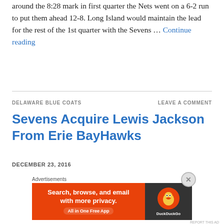around the 8:28 mark in first quarter the Nets went on a 6-2 run to put them ahead 12-8. Long Island would maintain the lead for the rest of the 1st quarter with the Sevens … Continue reading
DELAWARE BLUE COATS
LEAVE A COMMENT
Sevens Acquire Lewis Jackson From Erie BayHawks
DECEMBER 23, 2016
The Delaware 87ers made an another trade this season which they have a for this season this time they d
[Figure (other): DuckDuckGo advertisement banner: orange left panel with 'Search, browse, and email with more privacy. All in One Free App' and dark right panel with DuckDuckGo duck logo]